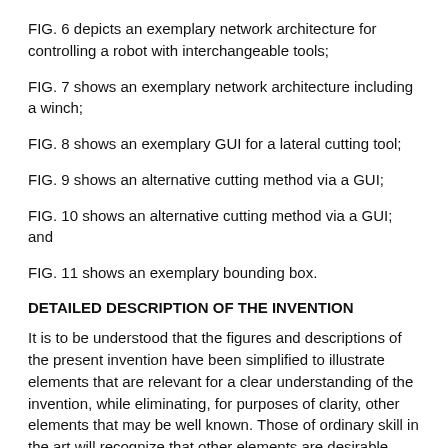FIG. 6 depicts an exemplary network architecture for controlling a robot with interchangeable tools;
FIG. 7 shows an exemplary network architecture including a winch;
FIG. 8 shows an exemplary GUI for a lateral cutting tool;
FIG. 9 shows an alternative cutting method via a GUI;
FIG. 10 shows an alternative cutting method via a GUI; and
FIG. 11 shows an exemplary bounding box.
DETAILED DESCRIPTION OF THE INVENTION
It is to be understood that the figures and descriptions of the present invention have been simplified to illustrate elements that are relevant for a clear understanding of the invention, while eliminating, for purposes of clarity, other elements that may be well known. Those of ordinary skill in the art will recognize that other elements are desirable and/or required in order to implement the present invention. However, because such elements are well known in the art, and because they do not facilitate a better